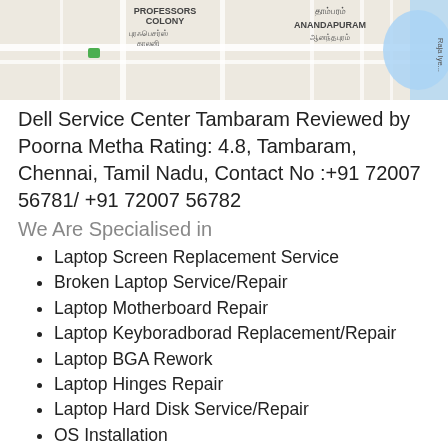[Figure (map): Google Maps snippet showing Professors Colony, Anandapuram area near Tambaram, Chennai with Tamil script labels and a blue water body on the right.]
Dell Service Center Tambaram Reviewed by Poorna Metha Rating: 4.8, Tambaram, Chennai, Tamil Nadu, Contact No :+91 72007 56781/ +91 72007 56782
We Are Specialised in
Laptop Screen Replacement Service
Broken Laptop Service/Repair
Laptop Motherboard Repair
Laptop Keyboradborad Replacement/Repair
Laptop BGA Rework
Laptop Hinges Repair
Laptop Hard Disk Service/Repair
OS Installation